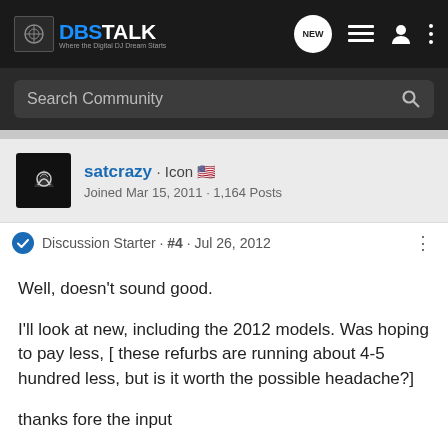DBSTALK - Where the Digital DJ Dream Starts
Search Community
satcrazy · Icon
Joined Mar 15, 2011 · 1,164 Posts
Discussion Starter · #4 · Jul 26, 2012
Well, doesn't sound good.

I'll look at new, including the 2012 models. Was hoping to pay less, [ these refurbs are running about 4-5 hundred less, but is it worth the possible headache?]

thanks fore the input